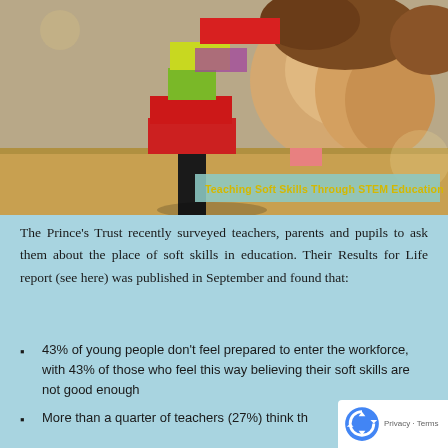[Figure (photo): A young child looking down at colorful stacking blocks (yellow, green, red, black) arranged in a tower. The child is photographed from above. A teal/mint banner overlay reads 'Teaching Soft Skills Through STEM Education' in yellow bold text.]
The Prince's Trust recently surveyed teachers, parents and pupils to ask them about the place of soft skills in education. Their Results for Life report (see here) was published in September and found that:
43% of young people don't feel prepared to enter the workforce, with 43% of those who feel this way believing their soft skills are not good enough
More than a quarter of teachers (27%) think th...